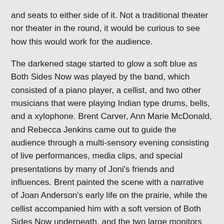and seats to either side of it. Not a traditional theater nor theater in the round, it would be curious to see how this would work for the audience.
The darkened stage started to glow a soft blue as Both Sides Now was played by the band, which consisted of a piano player, a cellist, and two other musicians that were playing Indian type drums, bells, and a xylophone. Brent Carver, Ann Marie McDonald, and Rebecca Jenkins came out to guide the audience through a multi-sensory evening consisting of live performances, media clips, and special presentations by many of Joni's friends and influences. Brent painted the scene with a narrative of Joan Anderson's early life on the prairie, while the cellist accompanied him with a soft version of Both Sides Now underneath, and the two large monitors above went through a slide show of Joan as a young girl. Of course, he mentions a huge influence of Joan's, Mr. Kratzman, who told her, "If you can paint with a brush, you can paint with words." Next, Brent sang a beautiful version of Night in the City.